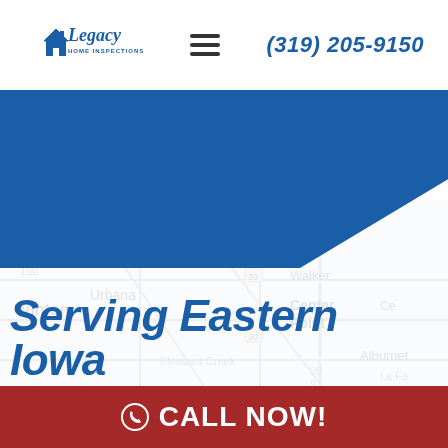[Figure (logo): Legacy Home Inspections logo with house icon and cursive text]
[Figure (other): Hamburger/navigation menu icon (three horizontal lines)]
(319) 205-9150
[Figure (other): Blue diagonal triangle/banner shape]
[Figure (map): Faded road map background showing Eastern Iowa including Urbana, Vinton, Center Point, Alburnett, Walker locations]
Serving Eastern Iowa
CALL NOW!